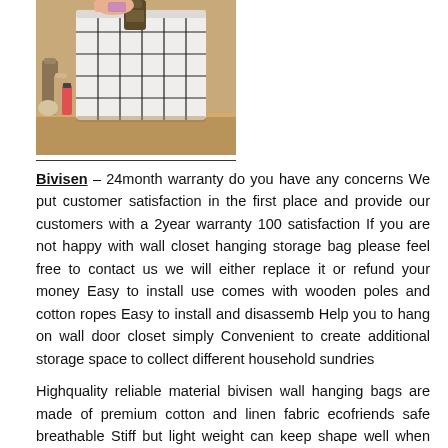[Figure (photo): Photo of a white grid-patterned fabric hanging storage bag on a wooden surface, with a hand placing items such as a bottle into it. Cosmetic/perfume bottles visible beside it.]
Bivisen – 24month warranty do you have any concerns We put customer satisfaction in the first place and provide our customers with a 2year warranty 100 satisfaction If you are not happy with wall closet hanging storage bag please feel free to contact us we will either replace it or refund your money Easy to install use comes with wooden poles and cotton ropes Easy to install and disassemb Help you to hang on wall door closet simply Convenient to create additional storage space to collect different household sundries
Highquality reliable material bivisen wall hanging bags are made of premium cotton and linen fabric ecofriends safe breathable Stiff but light weight can keep shape well when hanging on the wall The inner